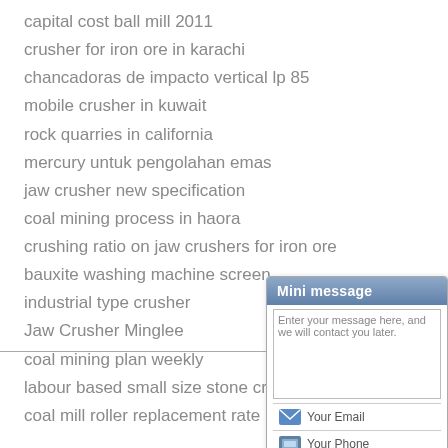capital cost ball mill 2011
crusher for iron ore in karachi
chancadoras de impacto vertical lp 85
mobile crusher in kuwait
rock quarries in california
mercury untuk pengolahan emas
jaw crusher new specification
coal mining process in haora
crushing ratio on jaw crushers for iron ore
bauxite washing machine screen
industrial type crusher
Jaw Crusher Minglee
coal mining plan weekly
labour based small size stone crusher for sal
coal mill roller replacement rate
Add: New Technical
[Figure (screenshot): Mini message widget with header 'Mini message', a textarea with placeholder 'Enter your message here, and we will contact you later.', an email field 'Your Email', a phone field 'Your Phone', and two buttons: 'Email Us' (green) and 'Send' (blue).]